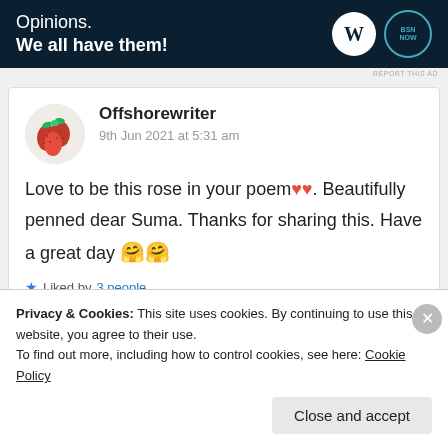[Figure (screenshot): WordPress advertisement banner with text 'Opinions. We all have them!' and WordPress and BSN logos on dark navy background]
REPORT THIS AD
Offshorewriter
9th Jun 2021 at 5:31 am
Love to be this rose in your poem❤❤. Beautifully penned dear Suma. Thanks for sharing this. Have a great day 🤗🤗
⭐ Liked by 3 people
Privacy & Cookies: This site uses cookies. By continuing to use this website, you agree to their use.
To find out more, including how to control cookies, see here: Cookie Policy